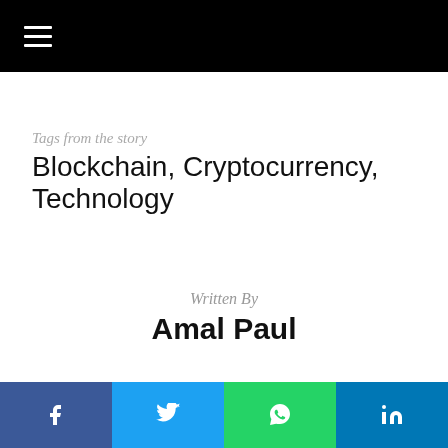☰
Tags from the story
Blockchain, Cryptocurrency, Technology
Written By
Amal Paul
Facebook | Twitter | WhatsApp | LinkedIn